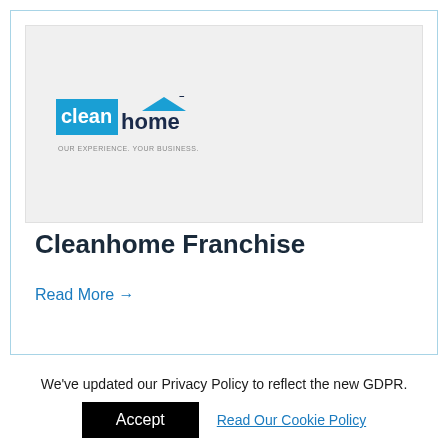[Figure (logo): Cleanhome logo: blue rectangle with white text 'clean', followed by dark blue text 'home' with a roof shape over the 'e', and tagline 'OUR EXPERIENCE. YOUR BUSINESS.' in small grey text below]
Cleanhome Franchise
Read More →
We've updated our Privacy Policy to reflect the new GDPR.
Accept
Read Our Cookie Policy